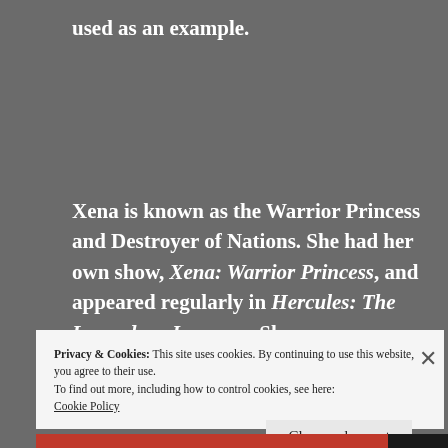used as an example.
Xena is known as the Warrior Princess and Destroyer of Nations. She had her own show, Xena: Warrior Princess, and appeared regularly in Hercules: The Legendary Journeys. She was a woman to be feared and certainly earned a
Privacy & Cookies: This site uses cookies. By continuing to use this website, you agree to their use.
To find out more, including how to control cookies, see here:
Cookie Policy
Close and accept